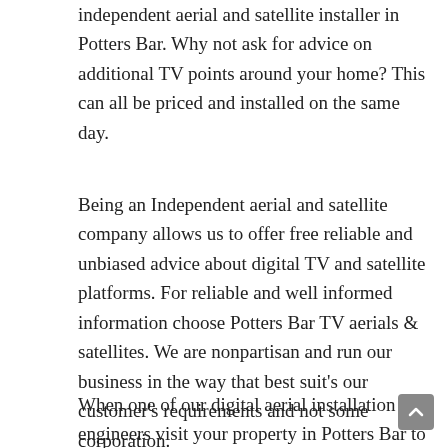independent aerial and satellite installer in Potters Bar. Why not ask for advice on additional TV points around your home? This can all be priced and installed on the same day.
Being an Independent aerial and satellite company allows us to offer free reliable and unbiased advice about digital TV and satellite platforms. For reliable and well informed information choose Potters Bar TV aerials & satellites. We are nonpartisan and run our business in the way that best suit's our customer's requirements and not some corporation.
When one of our digital aerial installation engineers visit your property in Potters Bar to diagnoses a TV aerial or satellite fault, they will always carry out a field signal strength test to determine the quality of